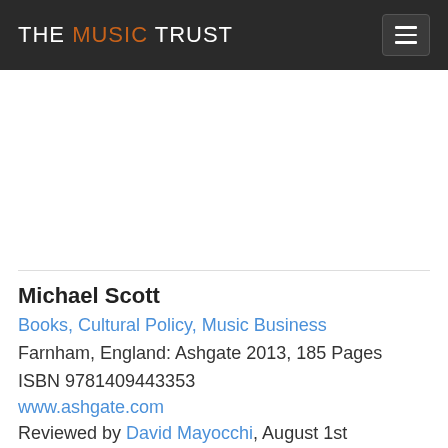THE MUSIC TRUST
Michael Scott
Books, Cultural Policy, Music Business
Farnham, England: Ashgate 2013, 185 Pages
ISBN 9781409443353
www.ashgate.com
Reviewed by David Mayocchi, August 1st